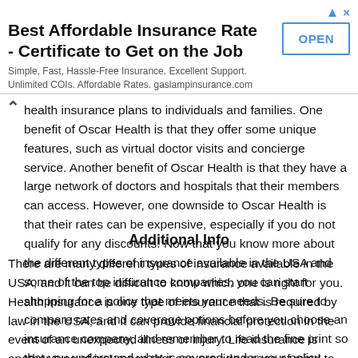[Figure (other): Advertisement banner: 'Best Affordable Insurance Rate - Certificate to Get on the Job'. Simple, Fast, Hassle-Free Insurance. Excellent Support. Unlimited COIs. Affordable Rates. gaslampinsurance.com. With an OPEN button on the right.]
health insurance plans to individuals and families. One benefit of Oscar Health is that they offer some unique features, such as virtual doctor visits and concierge service. Another benefit of Oscar Health is that they have a large network of doctors and hospitals that their members can access. However, one downside to Oscar Health is that their rates can be expensive, especially if you do not qualify for any discounts. Now that you know more about the different types of insurance available in the USA and some of the top insurance companies, you can start shopping for a policy that meets your needs. Be sure to compare rates and coverage options before you choose an insurance company, and remember to read the fine print so that you understand what is covered under your policy.
Additional Info
There are many different types of insurance available in the USA, and it can be difficult to know which one is right for you. Health insurance is one type of insurance that is required by law in the USA, and it can provide financial protection in the event of an unexpected illness or injury. Life insurance is another type of insurance that can provide peace of mind to both the policyholder